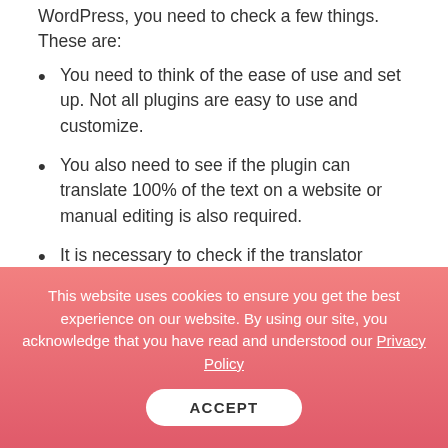WordPress, you need to check a few things. These are:
You need to think of the ease of use and set up. Not all plugins are easy to use and customize.
You also need to see if the plugin can translate 100% of the text on a website or manual editing is also required.
It is necessary to check if the translator plugin generates SEO friendly content in other languages on its own.
It is necessary to check how frequently the
This website uses cookies to ensure you get the best experience on our website. By using our site, you acknowledge that you have read and understood our Privacy Policy
ACCEPT